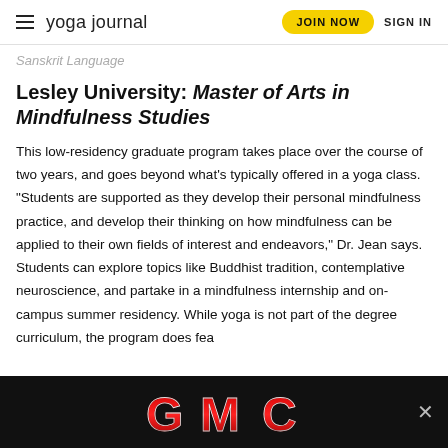yoga journal | JOIN NOW | SIGN IN
Sanskrit Language
Lesley University: Master of Arts in Mindfulness Studies
This low-residency graduate program takes place over the course of two years, and goes beyond what's typically offered in a yoga class. “Students are supported as they develop their personal mindfulness practice, and develop their thinking on how mindfulness can be applied to their own fields of interest and endeavors,” Dr. Jean says. Students can explore topics like Buddhist tradition, contemplative neuroscience, and partake in a mindfulness internship and on-campus summer residency. While yoga is not part of the degree curriculum, the program does fea
[Figure (logo): GMC logo advertisement banner on black background with close button]